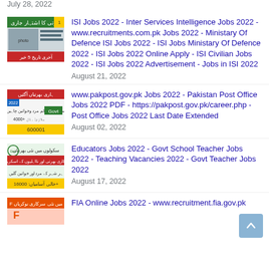July 28, 2022
[Figure (photo): ISI Jobs thumbnail with Urdu text]
ISI Jobs 2022 - Inter Services Intelligence Jobs 2022 - www.recruitments.com.pk Jobs 2022 - Ministary Of Defence ISI Jobs 2022 - ISI Jobs Ministary Of Defence 2022 - ISI Jobs 2022 Online Apply - ISI Civilian Jobs 2022 - ISI Jobs 2022 Advertisement - Jobs in ISI 2022
August 21, 2022
[Figure (photo): Pakistan Post Office Jobs thumbnail with Urdu text]
www.pakpost.gov.pk Jobs 2022 - Pakistan Post Office Jobs 2022 PDF - https://pakpost.gov.pk/career.php - Post Office Jobs 2022 Last Date Extended
August 02, 2022
[Figure (photo): Educators Jobs thumbnail with Urdu text]
Educators Jobs 2022 - Govt School Teacher Jobs 2022 - Teaching Vacancies 2022 - Govt Teacher Jobs 2022
August 17, 2022
[Figure (photo): FIA Jobs thumbnail with Urdu text]
FIA Online Jobs 2022 - www.recruitment.fia.gov.pk